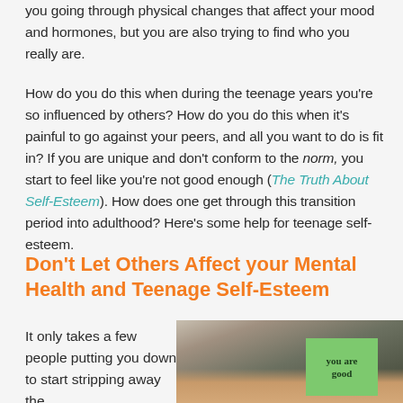you going through physical changes that affect your mood and hormones, but you are also trying to find who you really are.
How do you do this when during the teenage years you're so influenced by others? How do you do this when it's painful to go against your peers, and all you want to do is fit in? If you are unique and don't conform to the norm, you start to feel like you're not good enough (The Truth About Self-Esteem). How does one get through this transition period into adulthood? Here's some help for teenage self-esteem.
Don't Let Others Affect your Mental Health and Teenage Self-Esteem
It only takes a few people putting you down to start stripping away the
[Figure (photo): Person holding a green sticky note that reads 'you are good']